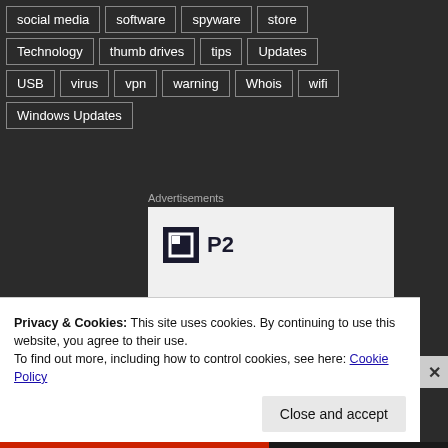social media
software
spyware
store
Technology
thumb drives
tips
Updates
USB
virus
vpn
warning
Whois
wifi
Windows Updates
Advertisements
[Figure (logo): P2 logo with square icon on light grey background]
Privacy & Cookies: This site uses cookies. By continuing to use this website, you agree to their use.
To find out more, including how to control cookies, see here: Cookie Policy
Close and accept